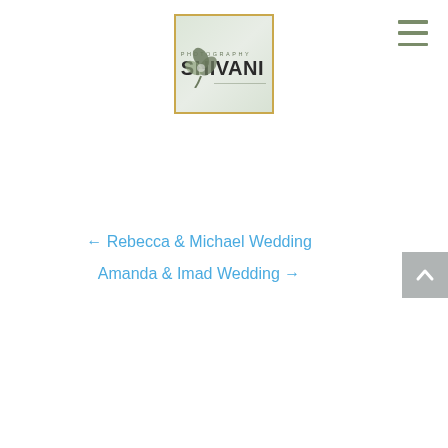[Figure (logo): Photography Shivani logo: a gold-bordered light green/sage square containing a stylized flower/leaf graphic on the left and the text 'PHOTOGRAPHY' above 'SHIVANI' in bold dark lettering]
[Figure (other): Hamburger menu icon with three horizontal olive/sage green lines in the top right corner]
← Rebecca & Michael Wedding
Amanda & Imad Wedding →
[Figure (other): Gray back-to-top button with upward chevron arrow on the right side]